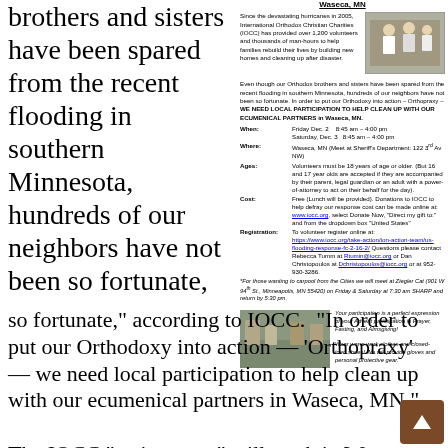brothers and sisters have been spared from the recent flooding in southern Minnesota, hundreds of our neighbors have not been so fortunate,
[Figure (infographic): IOCC Waseca MN cleanup volunteer flyer with photo of volunteers working, event details for Friday Dec 2 and Saturday Dec 3, registration info, and a bottom photo of volunteers outdoors.]
so fortunate,” according to IOCC. “In order to put our Orthodoxy into action — ‘Orthopraxy’ — we need local participation to help clean up with our ecumenical partners in Waseca, MN.”
The IOCC “action team” will work in Waseca from 8:45 a.m. until 4:00 p.m. on Friday and Saturday, December 2-3, 2016.  Volunteers, who must be 18